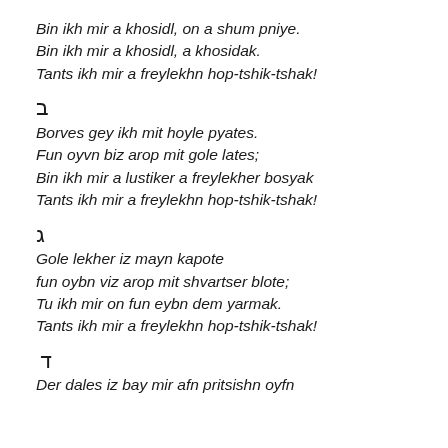Bin ikh mir a khosidl, on a shum pniye.
Bin ikh mir a khosidl, a khosidak.
Tants ikh mir a freylekhn hop-tshik-tshak!
ב
Borves gey ikh mit hoyle pyates.
Fun oyvn biz arop mit gole lates;
Bin ikh mir a lustiker a freylekher bosyak
Tants ikh mir a freylekhn hop-tshik-tshak!
ג
Gole lekher iz mayn kapote
fun oybn viz arop mit shvartser blote;
Tu ikh mir on fun eybn dem yarmak.
Tants ikh mir a freylekhn hop-tshik-tshak!
ד
Der dales iz bay mir afn pritsishn oyfn